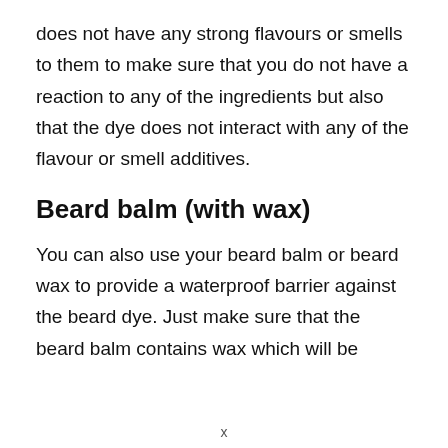does not have any strong flavours or smells to them to make sure that you do not have a reaction to any of the ingredients but also that the dye does not interact with any of the flavour or smell additives.
Beard balm (with wax)
You can also use your beard balm or beard wax to provide a waterproof barrier against the beard dye. Just make sure that the beard balm contains wax which will be
x